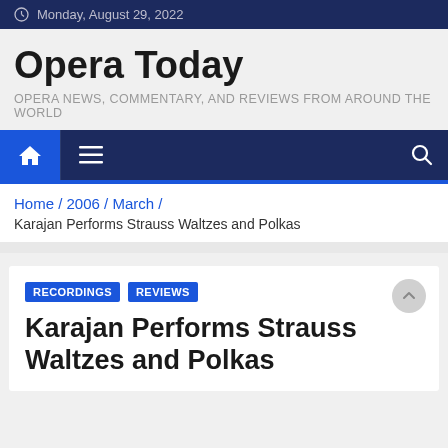Monday, August 29, 2022
Opera Today
OPERA NEWS, COMMENTARY, AND REVIEWS FROM AROUND THE WORLD
Home / 2006 / March /
Karajan Performs Strauss Waltzes and Polkas
RECORDINGS   REVIEWS
Karajan Performs Strauss Waltzes and Polkas